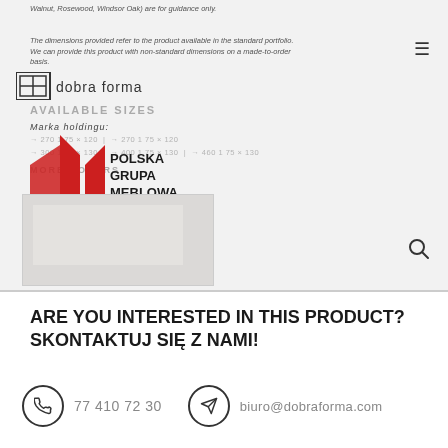Walnut, Rosewood, Windsor Oak) are for guidance only.
The dimensions provided refer to the product available in the standard portfolio. We can provide this product with non-standard dimensions on a made-to-order basis.
[Figure (logo): Dobra Forma logo with stylized DF icon and brand name]
AVAILABLE SIZES
Marka holdingu:
→ 270 1 75 × 120  |  → 270 1 75 × 120  |  → 300 1 75 × 130  |  → 400 1 75 × 130  |  → 460 1 75 × 130
MORE COLORS
[Figure (logo): Polska Grupa Meblowa logo with red stylized house/flag icon and bold text]
[Figure (photo): Product image showing a light-colored furniture item]
ARE YOU INTERESTED IN THIS PRODUCT?
SKONTAKTUJ SIĘ Z NAMI!
77 410 72 30
biuro@dobraforma.com